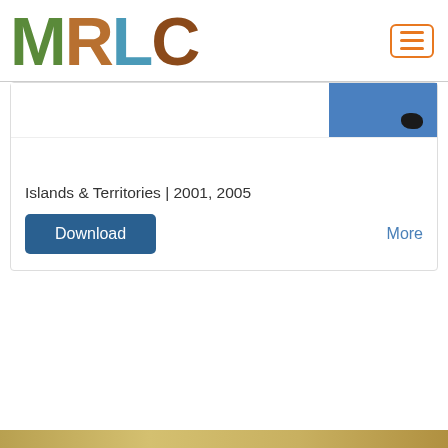MRLC
[Figure (screenshot): Partial view of a blue map thumbnail showing a Hawaiian island silhouette in dark color against a blue background]
Islands & Territories | 2001, 2005
Download
More